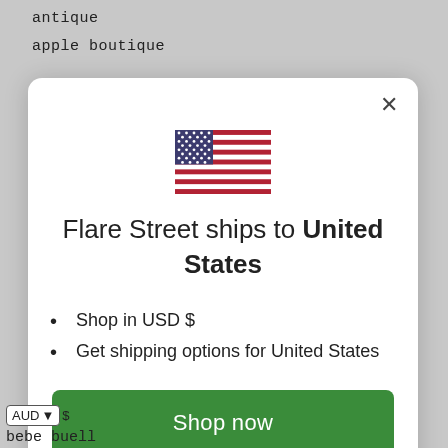antique
apple boutique
[Figure (illustration): US flag SVG illustration]
Flare Street ships to United States
Shop in USD $
Get shipping options for United States
Shop now
Change shipping country
AUD $ bebe buell